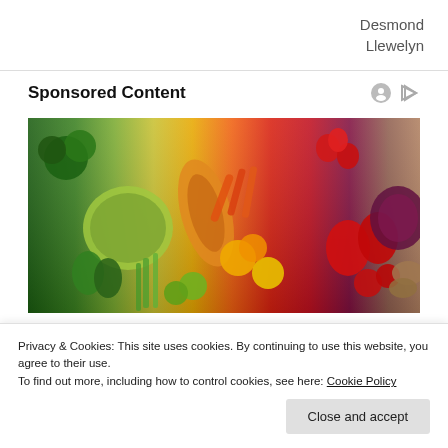Desmond
Llewelyn
Sponsored Content
[Figure (photo): Colorful arrangement of fresh fruits and vegetables including broccoli, cabbage, peppers, carrots, oranges, lemons, strawberries, tomatoes, red cabbage, and other produce arranged in a rainbow of colors.]
Privacy & Cookies: This site uses cookies. By continuing to use this website, you agree to their use.
To find out more, including how to control cookies, see here: Cookie Policy
Close and accept